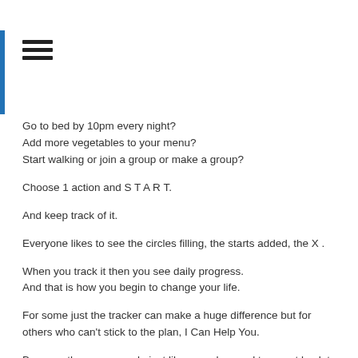Go to bed by 10pm every night?
Add more vegetables to your menu?
Start walking or join a group or make a group?
Choose 1 action and S T A R T.
And keep track of it.
Everyone likes to see the circles filling, the starts added, the X .
When you track it then you see daily progress.
And that is how you begin to change your life.
For some just the tracker can make a huge difference but for others who can't stick to the plan, I Can Help You.
Because there are people just like you who need to report back to someone. I Am That Someone.